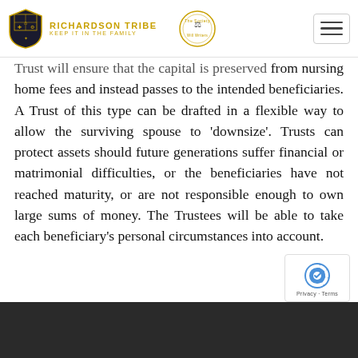RICHARDSON TRIBE — KEEP IT IN THE FAMILY | The Society of Will Writers
Trust will ensure that the capital is preserved from nursing home fees and instead passes to the intended beneficiaries. A Trust of this type can be drafted in a flexible way to allow the surviving spouse to 'downsize'. Trusts can protect assets should future generations suffer financial or matrimonial difficulties, or the beneficiaries have not reached maturity, or are not responsible enough to own large sums of money. The Trustees will be able to take each beneficiary's personal circumstances into account.
[Figure (photo): Dark background image at bottom of page]